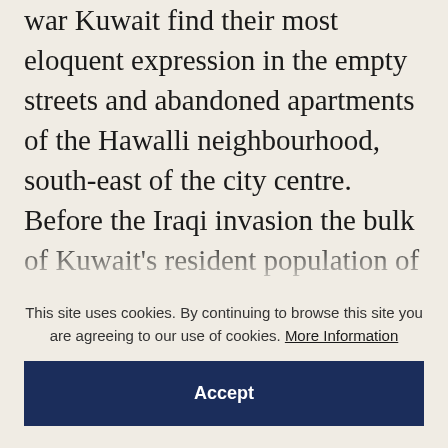war Kuwait find their most eloquent expression in the empty streets and abandoned apartments of the Hawalli neighbourhood, south-east of the city centre. Before the Iraqi invasion the bulk of Kuwait's resident population of 400,000 Palestinians lived in the network of apartment blocks and alleyways around Beirut Street. Now barely 40,000 remain, most of them unemployed and resigned to eventual deportation. Rows of shops and stalls remain shuttered, abandoned. Scrawled graffiti attest to the depth of Kuwaiti hatred for this departed community. And
This site uses cookies. By continuing to browse this site you are agreeing to our use of cookies. More Information
Accept